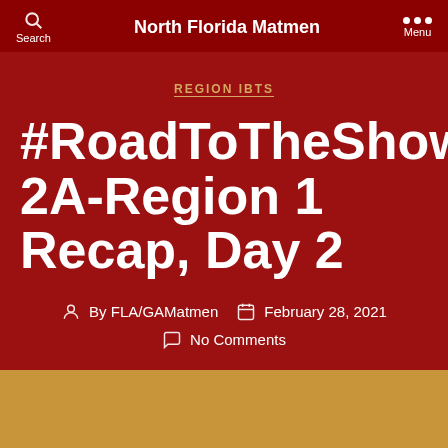North Florida Matmen
REGION IBTS
#RoadToTheShow: 2A-Region 1 Recap, Day 2
By FLA/GAMatmen   February 28, 2021
No Comments